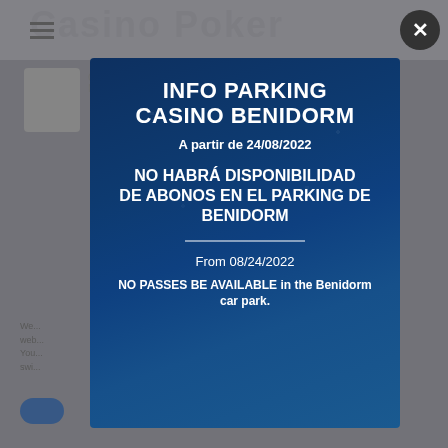[Figure (screenshot): Background of a casino poker website, partially obscured by modal overlay]
INFO PARKING CASINO BENIDORM
A partir de 24/08/2022
NO HABRÁ DISPONIBILIDAD DE ABONOS en el parking de Benidorm
From 08/24/2022
NO PASSES BE AVAILABLE in the Benidorm car park.